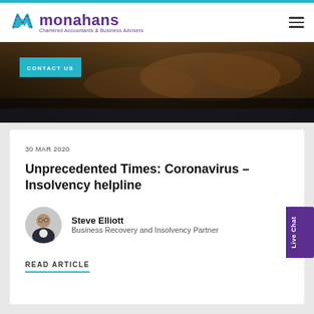monahans – Chartered Accountants & Business Advisers
[Figure (photo): Hero image of rocky landscape with teal CONTACT US button overlay]
30 MAR 2020
Unprecedented Times: Coronavirus – Insolvency helpline
[Figure (photo): Headshot of Steve Elliott, Business Recovery and Insolvency Partner]
Steve Elliott
Business Recovery and Insolvency Partner
READ ARTICLE